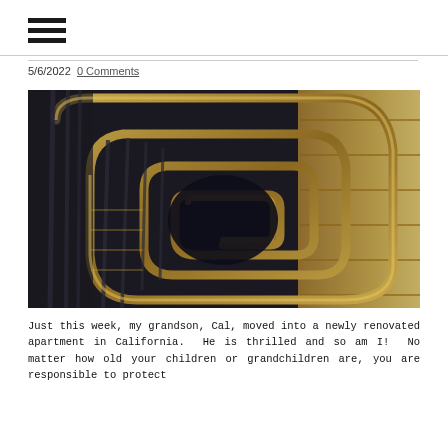≡
5/6/2022  0 Comments
[Figure (photo): Overhead view looking down a spiral staircase with ornate golden handrails and dark wrought iron balusters, with stone or plaster walls visible to the right.]
Just this week, my grandson, Cal, moved into a newly renovated apartment in California.  He is thrilled and so am I!  No matter how old your children or grandchildren are, you are responsible to protect